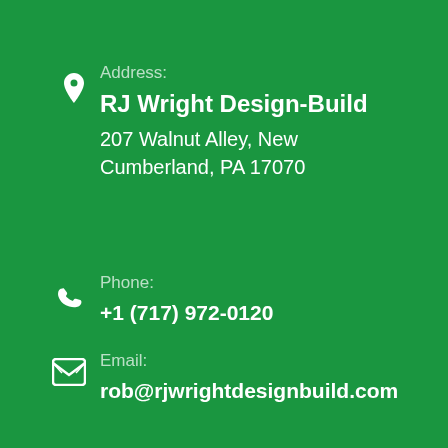Address:
RJ Wright Design-Build
207 Walnut Alley, New Cumberland, PA 17070
Phone:
+1 (717) 972-0120
Email:
rob@rjwrightdesignbuild.com